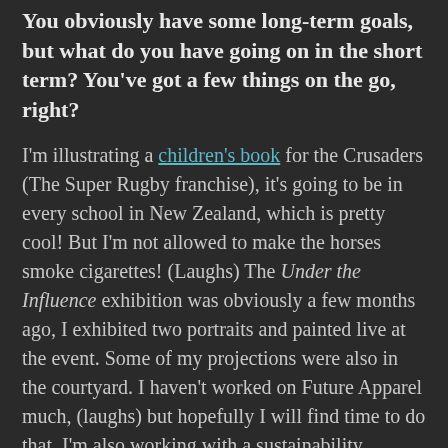You obviously have some long-term goals, but what do you have going on in the short term? You've got a few things on the go, right?
I'm illustrating a children's book for the Crusaders (The Super Rugby franchise), it's going to be in every school in New Zealand, which is pretty cool! But I'm not allowed to make the horses smoke cigarettes! (Laughs) The Under the Influence exhibition was obviously a few months ago, I exhibited two portraits and painted live at the event. Some of my projections were also in the courtyard. I haven't worked on Future Apparel much, (laughs) but hopefully I will find time to do that. I'm also working with a sustainability company, but I can't say much because they